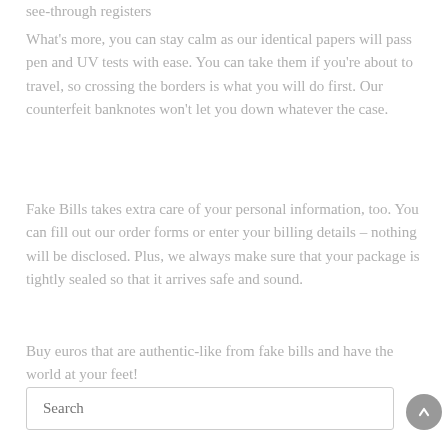see-through registers
What's more, you can stay calm as our identical papers will pass pen and UV tests with ease. You can take them if you're about to travel, so crossing the borders is what you will do first. Our counterfeit banknotes won't let you down whatever the case.
Fake Bills takes extra care of your personal information, too. You can fill out our order forms or enter your billing details – nothing will be disclosed. Plus, we always make sure that your package is tightly sealed so that it arrives safe and sound.
Buy euros that are authentic-like from fake bills and have the world at your feet!